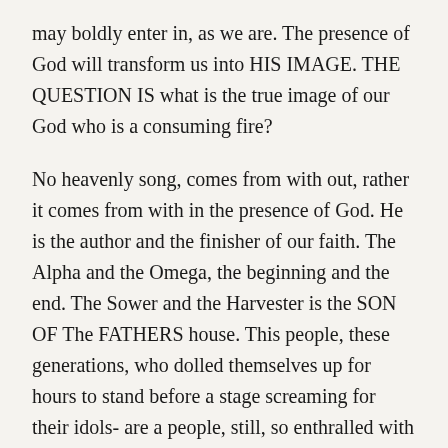may boldly enter in, as we are. The presence of God will transform us into HIS IMAGE. THE QUESTION IS what is the true image of our God who is a consuming fire?
No heavenly song, comes from with out, rather it comes from with in the presence of God. He is the author and the finisher of our faith. The Alpha and the Omega, the beginning and the end. The Sower and the Harvester is the SON OF The FATHERS house. This people, these generations, who dolled themselves up for hours to stand before a stage screaming for their idols- are a people, still, so enthralled with preparations, approaches, and presentation, we missed this one thing. Time spent